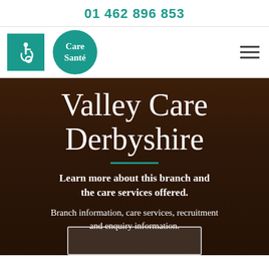01 462 896 853
[Figure (logo): Care Santé logo — teal circle with white text 'Care Santé', beside a teal accessibility icon]
Valley Care Derbyshire
Learn more about this branch and the care services offered.
Branch information, care services, recruitment and enquiry information.